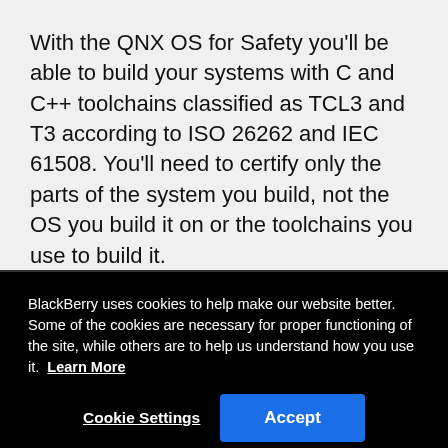With the QNX OS for Safety you'll be able to build your systems with C and C++ toolchains classified as TCL3 and T3 according to ISO 26262 and IEC 61508. You'll need to certify only the parts of the system you build, not the OS you build it on or the toolchains you use to build it.
BlackBerry uses cookies to help make our website better. Some of the cookies are necessary for proper functioning of the site, while others are to help us understand how you use it. Learn More
Cookie Settings | Accept